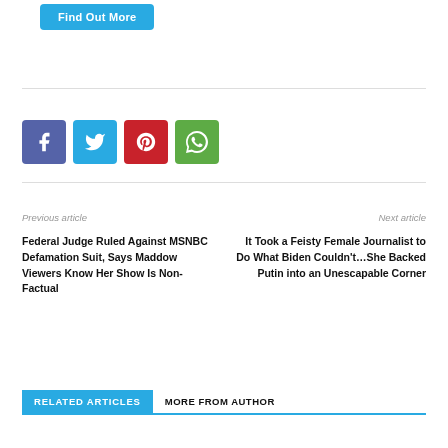Find Out More
[Figure (other): Social media share buttons: Facebook (blue-purple), Twitter (blue), Pinterest (red), WhatsApp (green)]
Previous article
Next article
Federal Judge Ruled Against MSNBC Defamation Suit, Says Maddow Viewers Know Her Show Is Non-Factual
It Took a Feisty Female Journalist to Do What Biden Couldn't…She Backed Putin into an Unescapable Corner
RELATED ARTICLES    MORE FROM AUTHOR